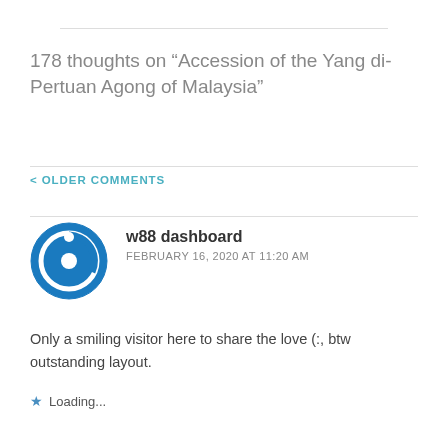178 thoughts on “Accession of the Yang di-Pertuan Agong of Malaysia”
< OLDER COMMENTS
w88 dashboard
FEBRUARY 16, 2020 AT 11:20 AM
Only a smiling visitor here to share the love (:, btw outstanding layout.
★ Loading...
[Figure (other): Advertisement banner for Leesburg store: OPEN 10AM-9PM, 241 Fort Evans Rd NE, Leesburg]